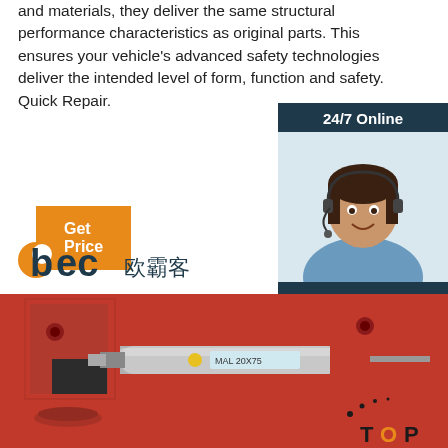and materials, they deliver the same structural performance characteristics as original parts. This ensures your vehicle's advanced safety technologies deliver the intended level of form, function and safety. Quick Repair.
[Figure (other): Orange 'Get Price' button]
[Figure (other): Sidebar with '24/7 Online' label, customer service agent photo, 'Click here for free chat!' text, and orange 'QUOTATION' button on dark teal background]
[Figure (logo): BEC 欧霸客 company logo with stylized orange and dark blue 'bec' letters and Chinese characters]
[Figure (photo): Product photo showing a red metal industrial fixture with a silver pneumatic cylinder labeled MAL 20x75, with red hoses and mechanical components. 'TOP' badge in bottom right corner.]